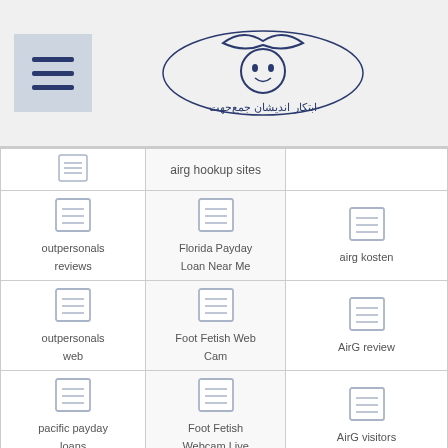Menu icon and logo header
| Column 1 | Column 2 | Column 3 |
| --- | --- | --- |
| [doc icon] outpersonals reviews | airg hookup sites |  |
| [doc icon] outpersonals reviews | [doc icon] Florida Payday Loan Near Me | [doc icon] airg kosten |
| [doc icon] outpersonals web | [doc icon] Foot Fetish Web Cam | [doc icon] AirG review |
| [doc icon] pacific payday loans | [doc icon] Foot Fetish Webcam Live | [doc icon] AirG visitors |
| [doc icon] Paltalk chat | [doc icon] Foot Fetish XXX Chat | [doc icon] Aisle visitors |